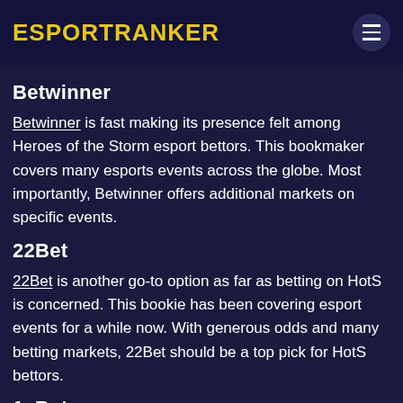ESPORTRANKER
Betwinner
Betwinner is fast making its presence felt among Heroes of the Storm esport bettors. This bookmaker covers many esports events across the globe. Most importantly, Betwinner offers additional markets on specific events.
22Bet
22Bet is another go-to option as far as betting on HotS is concerned. This bookie has been covering esport events for a while now. With generous odds and many betting markets, 22Bet should be a top pick for HotS bettors.
1xBet
1xBet is among the most popular operators in